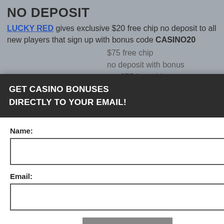NO DEPOSIT
LUCKY RED gives exclusive $20 free chip no deposit to all new players that sign up with bonus code CASINO20
$75 free chip
no deposit with bonus
get $75 free chip
players from USA and Canada
1X, 022 lots, Must rticipate if laws of ply. 18+
perience, we use Using this site, okie & privacy policy.
GET CASINO BONUSES
DIRECTLY TO YOUR EMAIL!
Name:
Email:
Submit
By subscribing you are certifying that you have reviewed and accepted our updated Privacy and Cookie policy.